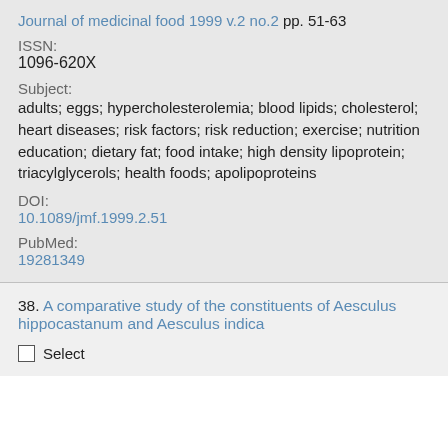Journal of medicinal food 1999 v.2 no.2 pp. 51-63
ISSN:
1096-620X
Subject:
adults; eggs; hypercholesterolemia; blood lipids; cholesterol; heart diseases; risk factors; risk reduction; exercise; nutrition education; dietary fat; food intake; high density lipoprotein; triacylglycerols; health foods; apolipoproteins
DOI:
10.1089/jmf.1999.2.51
PubMed:
19281349
38. A comparative study of the constituents of Aesculus hippocastanum and Aesculus indica
Select